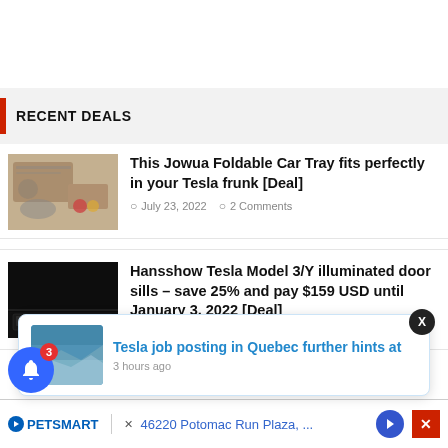RECENT DEALS
This Jowua Foldable Car Tray fits perfectly in your Tesla frunk [Deal]
July 23, 2022   2 Comments
Hansshow Tesla Model 3/Y illuminated door sills – save 25% and pay $159 USD until January 3, 2022 [Deal]
December 31, 2021   0 Comments
Tesla job posting in Quebec further hints at
3 hours ago
46220 Potomac Run Plaza, ...